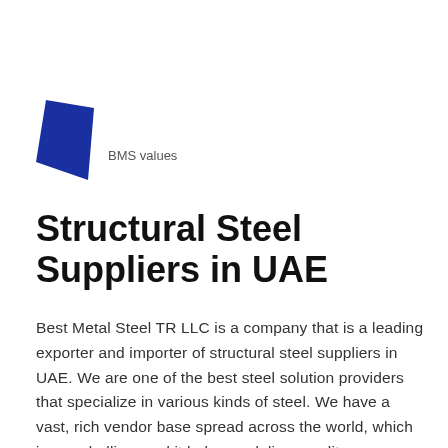[Figure (logo): BMS dark blue parallelogram/shield logo shape with text 'BMS values' beside it]
Structural Steel Suppliers in UAE
Best Metal Steel TR LLC is a company that is a leading exporter and importer of structural steel suppliers in UAE. We are one of the best steel solution providers that specialize in various kinds of steel. We have a vast, rich vendor base spread across the world, which is snowballing, and it helps us deliver quality